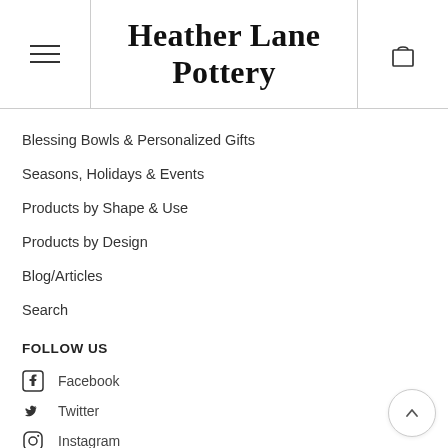Heather Lane Pottery
Blessing Bowls & Personalized Gifts
Seasons, Holidays & Events
Products by Shape & Use
Products by Design
Blog/Articles
Search
FOLLOW US
Facebook
Twitter
Instagram
Pinterest
YouTube